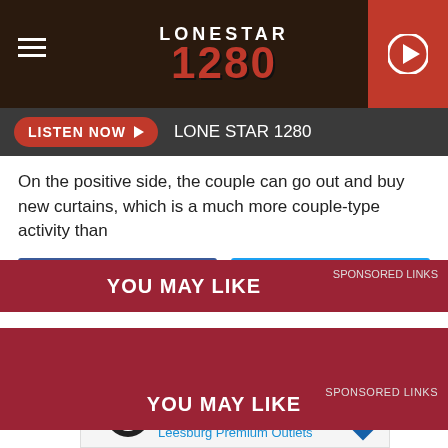LONESTAR 1280
LISTEN NOW  LONE STAR 1280
On the positive side, the couple can go out and buy new curtains, which is a much more couple-type activity than
f Share   Tweet
GuySpeed Source: Slightly Off-Kilter Teen Tries to Burn Down 43-Year-Old Boyfriend's House
Categories: Weird News
YOU MAY LIKE   SPONSORED LINKS
[Figure (infographic): Ad for Back To School Shopping Deals - Leesburg Premium Outlets]